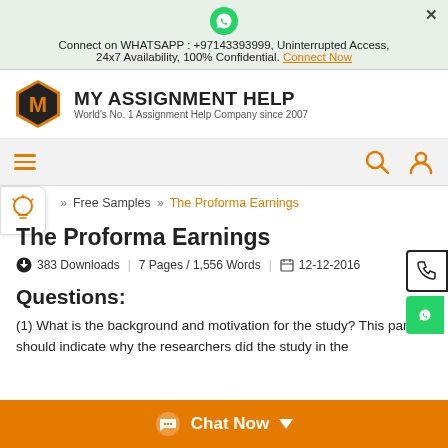Connect on WHATSAPP : +97143393999, Uninterrupted Access, 24x7 Availability, 100% Confidential. Connect Now
[Figure (logo): MY ASSIGNMENT HELP logo with orange hexagon M and text 'World's No. 1 Assignment Help Company since 2007']
[Figure (screenshot): Navigation bar with hamburger menu, search icon, and user icon]
Free Samples » The Proforma Earnings
The Proforma Earnings
383 Downloads | 7 Pages / 1,556 Words | 12-12-2016
Questions:
(1) What is the background and motivation for the study? This part should indicate why the researchers did the study in the